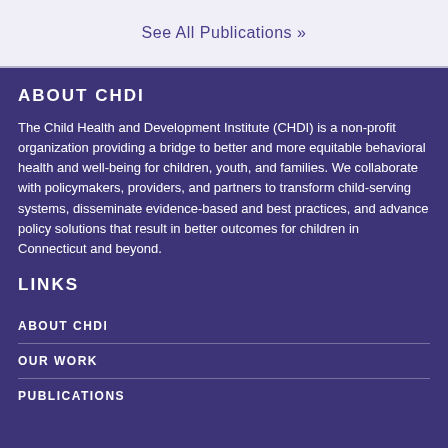See All Publications »
ABOUT CHDI
The Child Health and Development Institute (CHDI) is a non-profit organization providing a bridge to better and more equitable behavioral health and well-being for children, youth, and families. We collaborate with policymakers, providers, and partners to transform child-serving systems, disseminate evidence-based and best practices, and advance policy solutions that result in better outcomes for children in Connecticut and beyond.
LINKS
ABOUT CHDI
OUR WORK
PUBLICATIONS